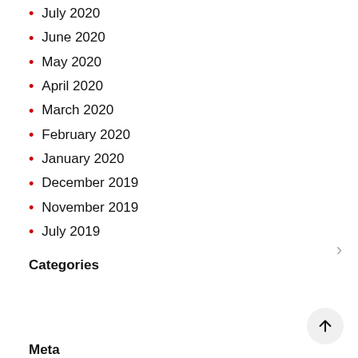July 2020
June 2020
May 2020
April 2020
March 2020
February 2020
January 2020
December 2019
November 2019
July 2019
Categories
Meta